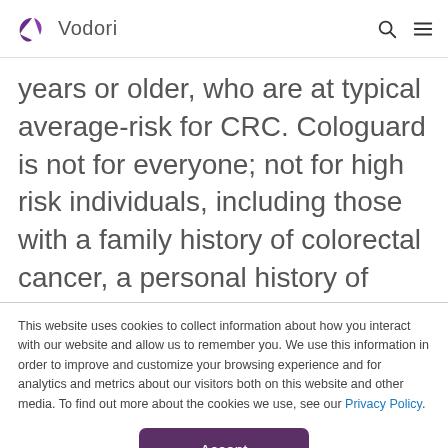Vodori
years or older, who are at typical average-risk for CRC. Cologuard is not for everyone; not for high risk individuals, including those with a family history of colorectal cancer, a personal history of cancer or advanced adenoma, IBD, and
This website uses cookies to collect information about how you interact with our website and allow us to remember you. We use this information in order to improve and customize your browsing experience and for analytics and metrics about our visitors both on this website and other media. To find out more about the cookies we use, see our Privacy Policy.
Accept